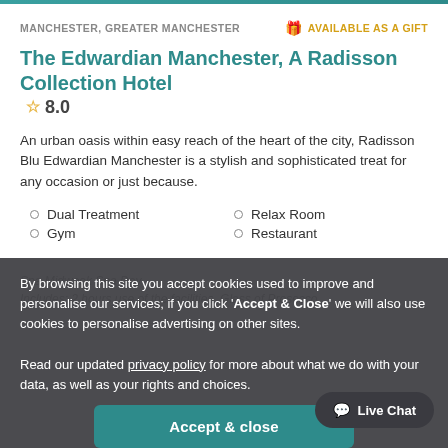MANCHESTER, GREATER MANCHESTER   🎁 AVAILABLE AS A GIFT
The Edwardian Manchester, A Radisson Collection Hotel  ☆ 8.0
An urban oasis within easy reach of the heart of the city, Radisson Blu Edwardian Manchester is a stylish and sophisticated treat for any occasion or just because.
Dual Treatment
Relax Room
Gym
Restaurant
By browsing this site you accept cookies used to improve and personalise our services; if you click 'Accept & Close' we will also use cookies to personalise advertising on other sites.
Read our updated privacy policy for more about what we do with your data, as well as your rights and choices.
Accept & close
Reject personalised marketing